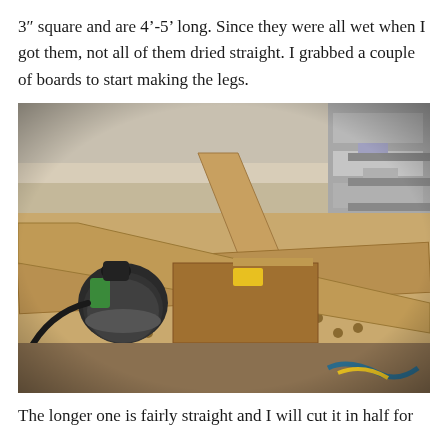3″ square and are 4'-5' long. Since they were all wet when I got them, not all of them dried straight. I grabbed a couple of boards to start making the legs.
[Figure (photo): Workshop photo showing wooden lumber boards laid across a workbench with holes, a Festool orbital sander visible on the left side, and other workshop equipment and materials in the background.]
The longer one is fairly straight and I will cut it in half for